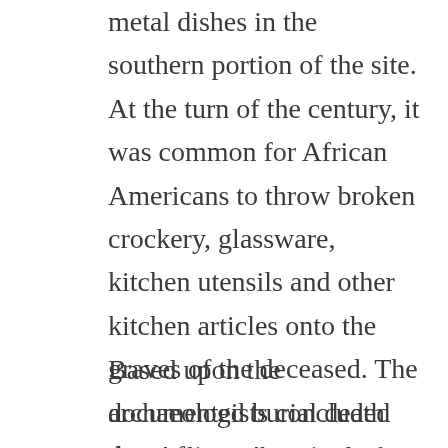metal dishes in the southern portion of the site. At the turn of the century, it was common for African Americans to throw broken crockery, glassware, kitchen utensils and other kitchen articles onto the graves of the deceased. The archaeologists concluded that African Americans – – possibly slaves – – are buried at Harmony Grove.
Based upon the documented burial death dates, the peak period of burial was the early 1900s, primarily between